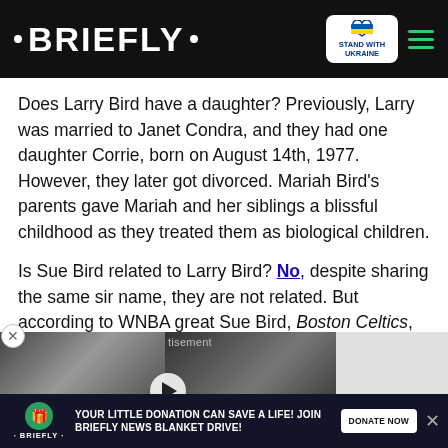• BRIEFLY •
Does Larry Bird have a daughter? Previously, Larry was married to Janet Condra, and they had one daughter Corrie, born on August 14th, 1977. However, they later got divorced. Mariah Bird's parents gave Mariah and her siblings a blissful childhood as they treated them as biological children.
Is Sue Bird related to Larry Bird? No, despite sharing the same sir name, they are not related. But according to WNBA great Sue Bird, Boston Celtics, Larry may as well be her uncle.
[Figure (photo): Video thumbnail showing two performers, with 'TWO LOST ANGELS' title bar in pink at bottom]
YOUR LITTLE DONATION CAN SAVE A LIFE! JOIN BRIEFLY NEWS BLANKET DRIVE! DONATE NOW